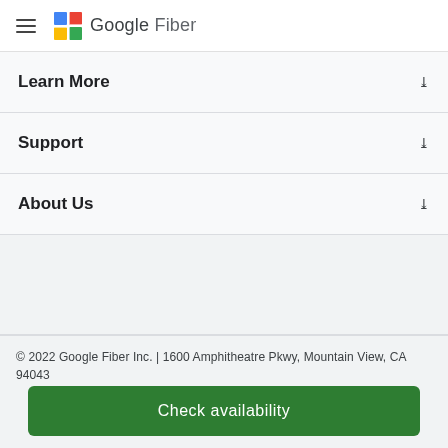Google Fiber
Learn More
Support
About Us
© 2022 Google Fiber Inc. | 1600 Amphitheatre Pkwy, Mountain View, CA 94043
Check availability